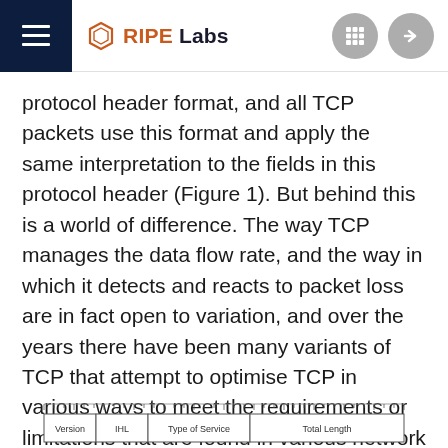RIPE Labs
protocol header format, and all TCP packets use this format and apply the same interpretation to the fields in this protocol header (Figure 1). But behind this is a world of difference. The way TCP manages the data flow rate, and the way in which it detects and reacts to packet loss are in fact open to variation, and over the years there have been many variants of TCP that attempt to optimise TCP in various ways to meet the requirements or limitations that are found in various network environments.
[Figure (schematic): Bottom portion of a TCP protocol header diagram showing fields including Version, IHL, Type of Service, and Total Length with ruler-style tick marks along the top.]